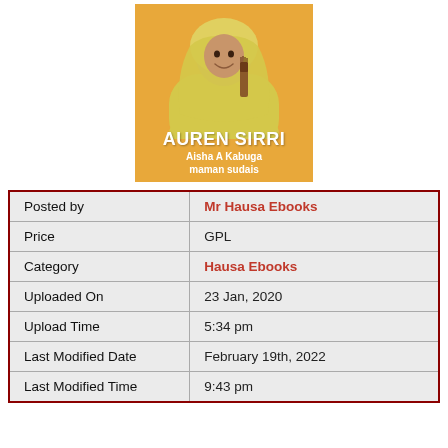[Figure (illustration): Book cover with orange/yellow background showing a woman in yellow hijab holding a wooden comb. Title reads 'AUREN SIRRI' in bold white text, subtitle 'Aisha A Kabuga' and 'maman sudais' in white.]
| Posted by | Mr Hausa Ebooks |
| Price | GPL |
| Category | Hausa Ebooks |
| Uploaded On | 23 Jan, 2020 |
| Upload Time | 5:34 pm |
| Last Modified Date | February 19th, 2022 |
| Last Modified Time | 9:43 pm |